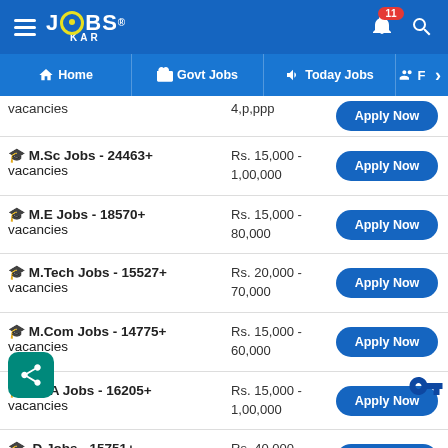JOBS KAR - Home | Govt Jobs | Today Jobs
| Job Category | Salary | Action |
| --- | --- | --- |
| vacancies | 4p,p,ppp | Apply Now |
| 🎓 M.Sc Jobs - 24463+ vacancies | Rs. 15,000 - 1,00,000 | Apply Now |
| 🎓 M.E Jobs - 18570+ vacancies | Rs. 15,000 - 80,000 | Apply Now |
| 🎓 M.Tech Jobs - 15527+ vacancies | Rs. 20,000 - 70,000 | Apply Now |
| 🎓 M.Com Jobs - 14775+ vacancies | Rs. 15,000 - 60,000 | Apply Now |
| 🎓 MBA Jobs - 16205+ vacancies | Rs. 15,000 - 1,00,000 | Apply Now |
| Ph.D Jobs - 15751+ vacancies | Rs. 40,000 - 1,50,000 | Apply Now |
| HR Jobs - 14000+... | Rs. 10,000... | Apply Now |